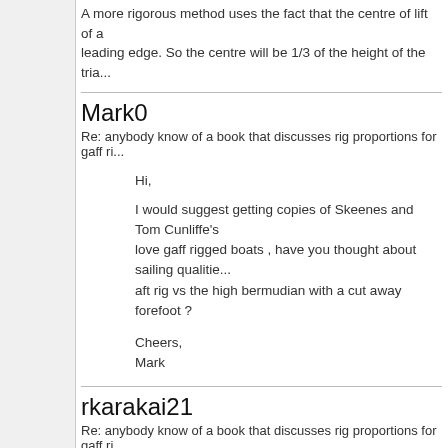A more rigorous method uses the fact that the centre of lift of a leading edge. So the centre will be 1/3 of the height of the tria...
Mark0
Re: anybody know of a book that discusses rig proportions for gaff ri...
Hi,
I would suggest getting copies of Skeenes and Tom Cunliffe's love gaff rigged boats , have you thought about sailing qualitie... aft rig vs the high bermudian with a cut away forefoot ?
Cheers,
Mark
rkarakai21
Re: anybody know of a book that discusses rig proportions for gaff ri...
Thanks for all the great replies. Will be digging through these. of modest bermudian rigs, our boat included and quite a few g... you think the performance difference would be. I have my rea... rig, apart from pure love of them. I think they have quite an ad... offshore I don't plan to do many hard unwind legs. I like a...